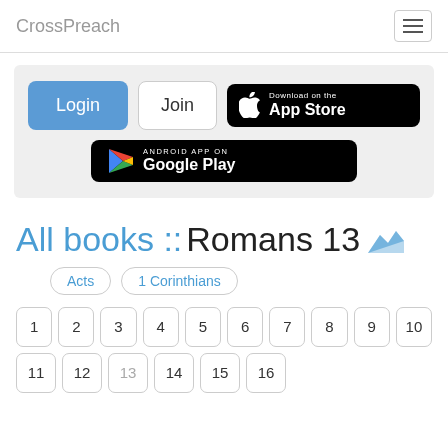CrossPreach
[Figure (screenshot): Login, Join, Download on the App Store, and Android App on Google Play buttons inside a gray box]
All books :: Romans 13
Acts
1 Corinthians
1 2 3 4 5 6 7 8 9 10
11 12 13 14 15 16